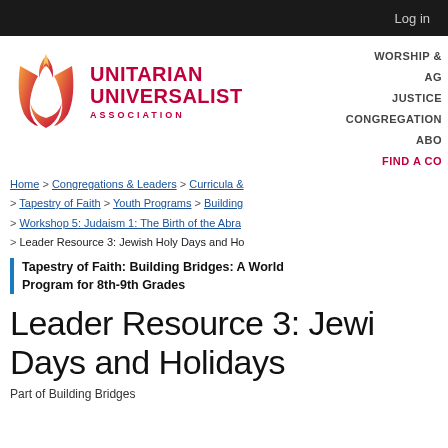Log in
[Figure (logo): Unitarian Universalist Association flame logo with 'UNITARIAN UNIVERSALIST ASSOCIATION' text in red]
WORSHIP & | AG | JUSTICE | CONGREGATION | ABO | FIND A CO
Home > Congregations & Leaders > Curricula & > Tapestry of Faith > Youth Programs > Building > Workshop 5: Judaism 1: The Birth of the Abra > Leader Resource 3: Jewish Holy Days and Ho
Tapesty of Faith: Building Bridges: A World Program for 8th-9th Grades
Leader Resource 3: Jewish Holy Days and Holidays
Part of Building Bridges